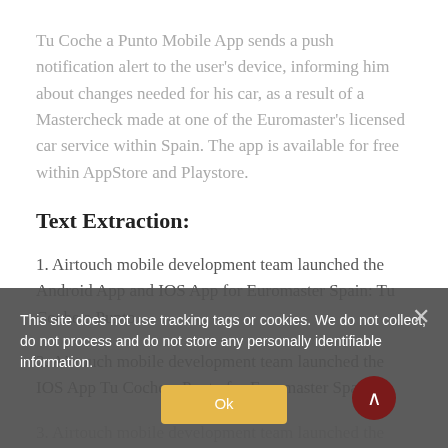Tu Coche a Punto Mobile App sends a push notification alert to the user’s device, informing him about changes needed for his car, as a result of a Mastercheck made at one of the Euromaster’s licensed car service within Spain. The app is available for free within AppStore and Playstore.
Text Extraction:
1. Airtouch mobile development team launched the Android App and IOS App for Euromaster Spain: Tu Coche a Punto
2. Airtouch mobile development team launched the IOS App Tu Coche a Punto for Euromaster Spain.
3. Airtouch mobile development team launched the Android App Tu Coche a Punto for Euromaster Spain.
This site does not use tracking tags or cookies. We do not collect, do not process and do not store any personally identifiable information.